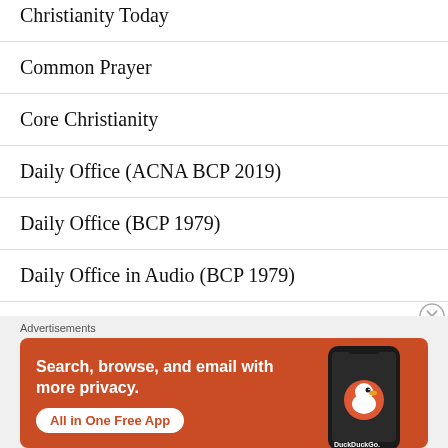Christianity Today
Common Prayer
Core Christianity
Daily Office (ACNA BCP 2019)
Daily Office (BCP 1979)
Daily Office in Audio (BCP 1979)
Early Christian Writings
[Figure (screenshot): DuckDuckGo advertisement banner with orange background. Text: 'Search, browse, and email with more privacy. All in One Free App'. Shows DuckDuckGo logo and phone image.]